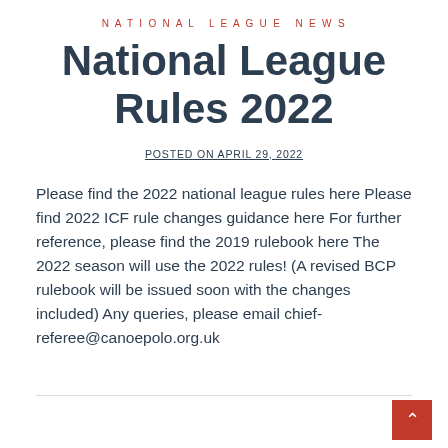NATIONAL LEAGUE NEWS
National League Rules 2022
POSTED ON APRIL 29, 2022
Please find the 2022 national league rules here Please find 2022 ICF rule changes guidance here For further reference, please find the 2019 rulebook here The 2022 season will use the 2022 rules! (A revised BCP rulebook will be issued soon with the changes included) Any queries, please email chief-referee@canoepolo.org.uk